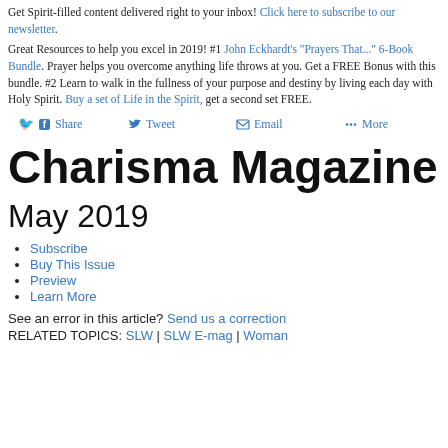Get Spirit-filled content delivered right to your inbox! Click here to subscribe to our newsletter.
Great Resources to help you excel in 2019! #1 John Eckhardt's "Prayers That..." 6-Book Bundle. Prayer helps you overcome anything life throws at you. Get a FREE Bonus with this bundle. #2 Learn to walk in the fullness of your purpose and destiny by living each day with Holy Spirit. Buy a set of Life in the Spirit, get a second set FREE.
Share  Tweet  Email  More
Charisma Magazine
May 2019
Subscribe
Buy This Issue
Preview
Learn More
See an error in this article? Send us a correction
RELATED TOPICS: SLW | SLW E-mag | Woman